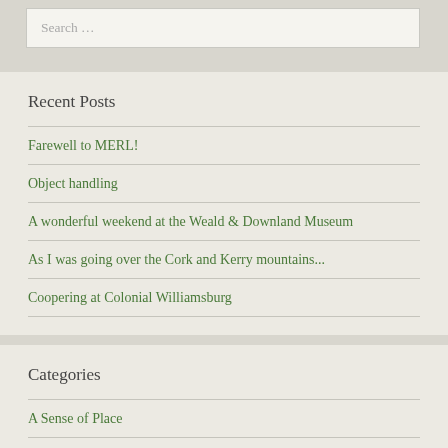Search …
Recent Posts
Farewell to MERL!
Object handling
A wonderful weekend at the Weald & Downland Museum
As I was going over the Cork and Kerry mountains...
Coopering at Colonial Williamsburg
Categories
A Sense of Place
Collecting 20th Century Rural Cultures
Countryside21